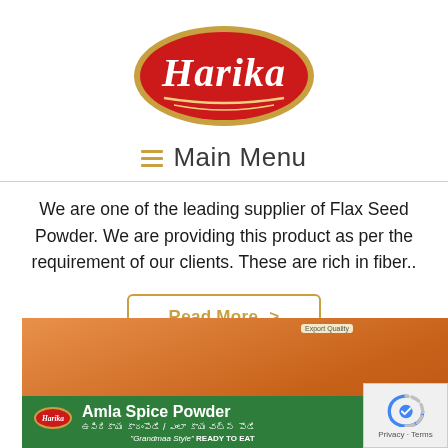[Figure (logo): Harika brand logo: red oval with gold border, white italic text 'Harika', two gold curved lines below]
≡  Main Menu
We are one of the leading supplier of Flax Seed Powder. We are providing this product as per the requirement of our clients. These are rich in fiber..
Read More  >
[Figure (photo): Harika Amla Spice Powder product package showing orange-brown spice powder with green label reading 'Harika Amla Spice Powder' in Telugu and English, with 'Grandmaa Style READY TO EAT' text and Export Quality badge]